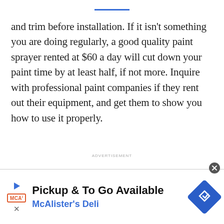and trim before installation. If it isn't something you are doing regularly, a good quality paint sprayer rented at $60 a day will cut down your paint time by at least half, if not more. Inquire with professional paint companies if they rent out their equipment, and get them to show you how to use it properly.
ADVERTISEMENT
[Figure (other): Advertisement banner for McAlister's Deli: 'Pickup & To Go Available' with MCA logo, play button, X close button, and a blue diamond direction icon. Close button (X in circle) at top right.]